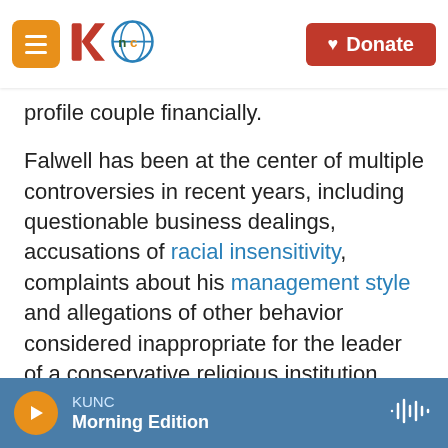KUNC | Donate
profile couple financially.
Falwell has been at the center of multiple controversies in recent years, including questionable business dealings, accusations of racial insensitivity, complaints about his management style and allegations of other behavior considered inappropriate for the leader of a conservative religious institution.
Previous reporting by news outlets, including BuzzFeed,has described a complicated business entanglement and close friendship between the Falwells and Granda. The couple met Granda
KUNC Morning Edition